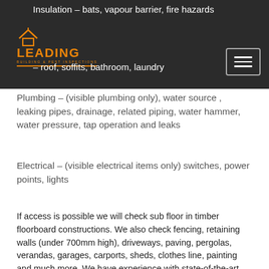Insulation – bats, vapour barrier, fire hazards
Leading Building & Pest Inspections [logo]
– roof, soffits, bathroom, laundry
Plumbing – (visible plumbing only), water source , leaking pipes, drainage, related piping, water hammer, water pressure, tap operation and leaks
Electrical – (visible electrical items only) switches, power points, lights
If access is possible we will check sub floor in timber floorboard constructions. We also check fencing, retaining walls (under 700mm high), driveways, paving, pergolas, verandas, garages, carports, sheds, clothes line, painting and much more. We have experience with state-of-the-art moisture meter technology, which can detect rising damp and leaking pipes even behind tiles! All our highly detailed customised report includes digital photos of